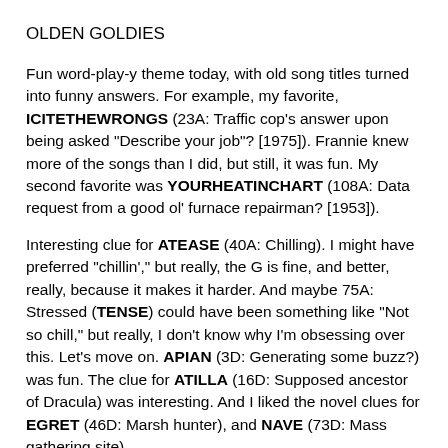OLDEN GOLDIES
Fun word-play-y theme today, with old song titles turned into funny answers. For example, my favorite, ICITETHEWRONGS (23A: Traffic cop's answer upon being asked "Describe your job"? [1975]). Frannie knew more of the songs than I did, but still, it was fun. My second favorite was YOURHEATINCHART (108A: Data request from a good ol' furnace repairman? [1953]).
Interesting clue for ATEASE (40A: Chilling). I might have preferred "chillin'," but really, the G is fine, and better, really, because it makes it harder. And maybe 75A: Stressed (TENSE) could have been something like "Not so chill," but really, I don't know why I'm obsessing over this. Let's move on. APIAN (3D: Generating some buzz?) was fun. The clue for ATILLA (16D: Supposed ancestor of Dracula) was interesting. And I liked the novel clues for EGRET (46D: Marsh hunter), and NAVE (73D: Mass gathering site).
Funny that our new knowledge of the existence of DRU